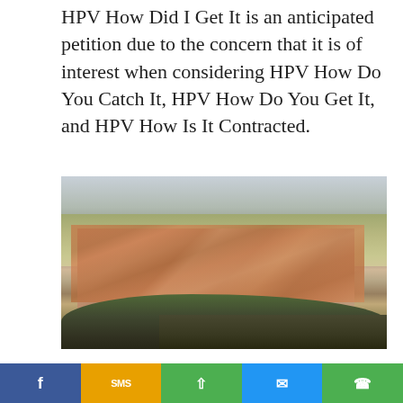HPV How Did I Get It is an anticipated petition due to the concern that it is of interest when considering HPV How Do You Catch It, HPV How Do You Get It, and HPV How Is It Contracted.
[Figure (photo): Aerial or elevated view of rural stone buildings with terracotta roofs surrounded by open landscape, trees in foreground, hills and sky in background.]
This publication clarifies how you will...
[Figure (infographic): Social sharing bar at the bottom with Facebook (blue), SMS (orange/yellow), Share (green), Messenger (blue), and WhatsApp (green) buttons with icons.]